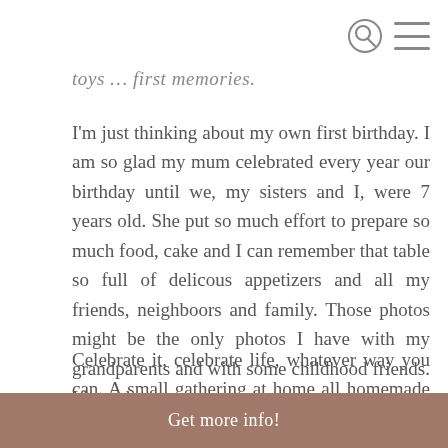[search icon] [hamburger menu icon]
toys … first memories.
I'm just thinking about my own first birthday. I am so glad my mum celebrated every year our birthday until we, my sisters and I, were 7 years old. She put so much effort to prepare so much food, cake and I can remember that table so full of delicous appetizers and all my friends, neighboors and family. Those photos might be the only photos I have with my grandparents and with some childhood friends. I love them.
Celebrate it, celebrate life, whatever way you can. A small gathering at home all homemade or a big party or a trip, it
Get more info!